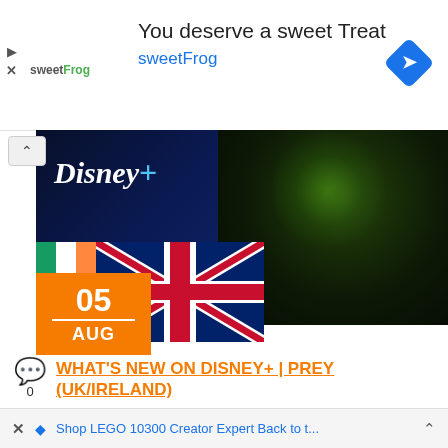[Figure (screenshot): Ad banner for sweetFrog frozen yogurt with logo, navigation icon, and text 'You deserve a sweet Treat / sweetFrog']
[Figure (photo): Disney+ hero image with Disney+ logo, Irish and UK flags, date box showing 05 AUG in orange, and a close-up of a green-lit face on the right side]
WHAT'S NEW ON DISNEY+ | PREY (UK/IRELAND)
It's Friday and time to take a look at what's been added onto Disney+ today, which includes two brand new originals, a new Predator film and a new LEGO Animated
Shop LEGO 10300 Creator Expert Back to t...